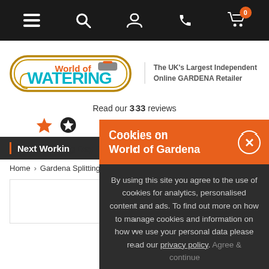[Figure (screenshot): Website navigation bar with hamburger menu, search, account, phone, and cart icons on dark background]
[Figure (logo): World of Watering logo with tagline: The UK's Largest Independent Online GARDENA Retailer]
Read our 333 reviews
[Figure (other): Star rating icons (orange star and black circle with star)]
Next Working
Home > Gardena Splitting A...
[Figure (other): Partial product image area]
Cookies on World of Gardena
By using this site you agree to the use of cookies for analytics, personalised content and ads. To find out more on how to manage cookies and information on how we use your personal data please read our privacy policy. Agree & continue